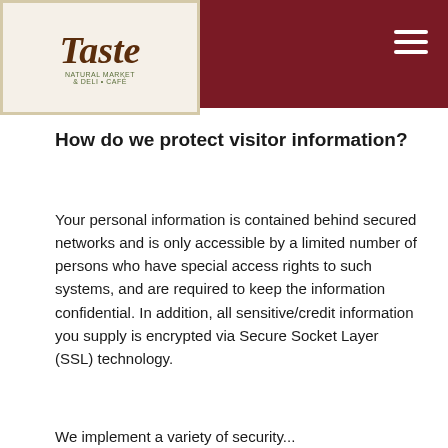Taste [logo]
How do we protect visitor information?
Your personal information is contained behind secured networks and is only accessible by a limited number of persons who have special access rights to such systems, and are required to keep the information confidential. In addition, all sensitive/credit information you supply is encrypted via Secure Socket Layer (SSL) technology.
We implement a variety of security...